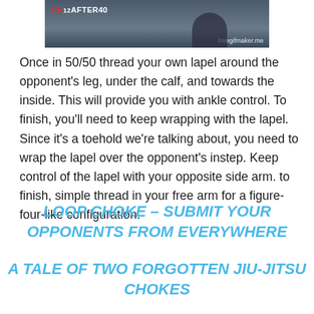[Figure (photo): Screenshot/GIF still from a martial arts technique video showing two people on a mat, with a red/white logo reading 'PR12AFTER40' and 'freegifmaker.me' watermark in the corner.]
Once in 50/50 thread your own lapel around the opponent's leg, under the calf, and towards the inside. This will provide you with ankle control. To finish, you'll need to keep wrapping with the lapel. Since it's a toehold we're talking about, you need to wrap the lapel over the opponent's instep. Keep control of the lapel with your opposite side arm. to finish, simple thread in your free arm for a figure-four-like configuration.
LOOP CHOKE – SUBMIT YOUR OPPONENTS FROM EVERYWHERE
A TALE OF TWO FORGOTTEN JIU-JITSU CHOKES